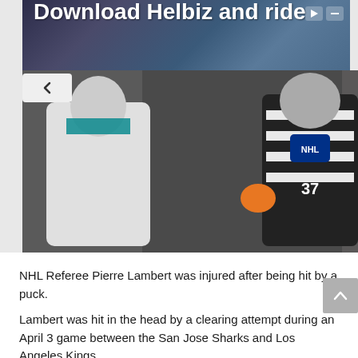[Figure (screenshot): Advertisement banner: 'Download Helbiz and ride' with dark blue-purple city background]
[Figure (photo): NHL referees in black and white striped uniforms with NHL logos, numbers 37 and 10, alongside a San Jose Sharks player. 'SCOUTING REFS' watermark visible. Play button overlay in center.]
NHL Referee Pierre Lambert was injured after being hit by a puck.
Lambert was hit in the head by a clearing attempt during an April 3 game between the San Jose Sharks and Los Angeles Kings.
The official attempted to remain in the game, staying on his skates. He hung in there until the next stoppage in play, which came on a goal by San Jose's Timo Meier. After the whistle, Lambert appeared unsteady and was